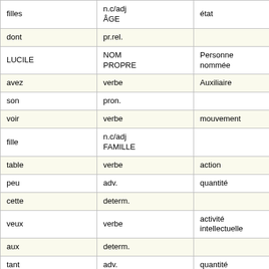| filles | n.c/adj ÂGE | état |  |
| dont | pr.rel. |  |  |
| LUCILE | NOM PROPRE | Personne nommée |  |
| avez | verbe | Auxiliaire |  |
| son | pron. |  |  |
| voir | verbe | mouvement |  |
| fille | n.c/adj FAMILLE |  |  |
| table | verbe | action |  |
| peu | adv. | quantité |  |
| cette | determ. |  |  |
| veux | verbe | activité intellectuelle |  |
| aux | determ. |  |  |
| tant | adv. | quantité |  |
| jamais | adv. | fréquence |  |
| seule | n.c/adj | quantité |  |